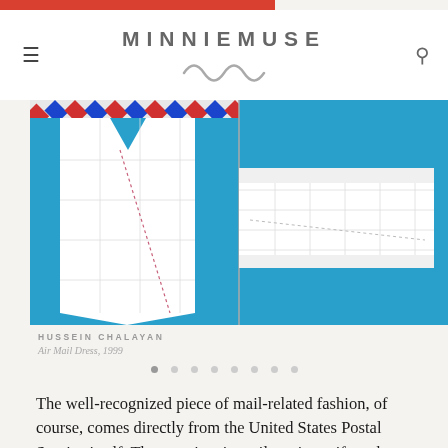MINNIEMUSE
[Figure (photo): Two-panel photograph on blue background showing Hussein Chalayan Air Mail Dress garment pieces. Left panel shows a white garment with red and blue airmail border stripes and dotted stitch lines. Right panel shows a white folded fabric piece with grid/quilt stitching on blue background.]
HUSSEIN CHALAYAN
Air Mail Dress, 1999
The well-recognized piece of mail-related fashion, of course, comes directly from the United States Postal Service itself. The now-iconic mail carrier uniform has a long history of modifications. Like the military, the look and uniformity of mail